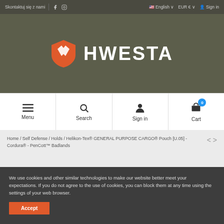Skontaktuj się z nami | f [instagram] | English | EUR € | Sign in
[Figure (logo): HWESTA brand logo with orange shield icon and white text on olive/khaki background]
Menu | Search | Sign in | Cart (0)
Home / Self Defense / Holds / Helikon-Tex® GENERAL PURPOSE CARGO® Pouch [U.05] - Cordura® - PenCott™ Badlands
We use cookies and other similar technologies to make our website better meet your expectations. If you do not agree to the use of cookies, you can block them at any time using the settings of your web browser.
Accept